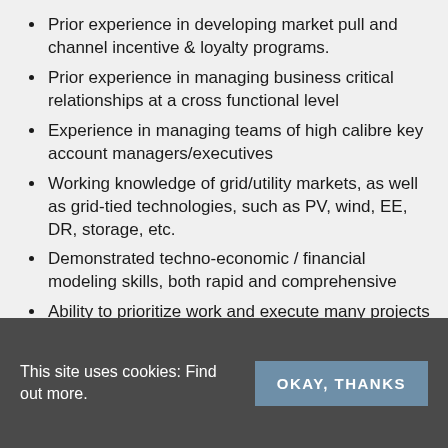Prior experience in developing market pull and channel incentive & loyalty programs.
Prior experience in managing business critical relationships at a cross functional level
Experience in managing teams of high calibre key account managers/executives
Working knowledge of grid/utility markets, as well as grid-tied technologies, such as PV, wind, EE, DR, storage, etc.
Demonstrated techno-economic / financial modeling skills, both rapid and comprehensive
Ability to prioritize work and execute many projects and tasks in parallel
Intense desire to be on the leading edge of market and technology
Deep passion for changing the way we use
This site uses cookies: Find out more. OKAY, THANKS